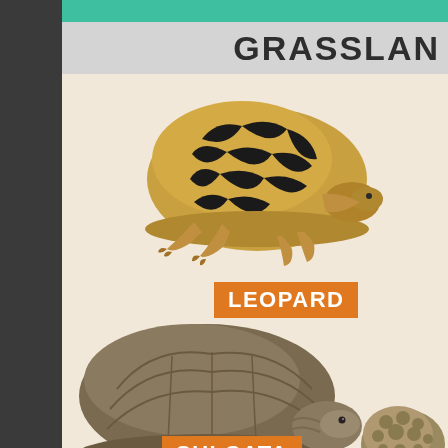GRASSLAN
[Figure (illustration): Leopard tortoise with distinctive black and golden-yellow patterned domed shell, viewed from the side, facing right]
LEOPARD
[Figure (illustration): Large Sulcata tortoise with dark brownish-grey shell showing concentric scute ring patterns, viewed from the side facing right]
[Figure (illustration): Small knobby tortoise (partially visible at right edge) with spiked shell and small purple-toned tortoise below it]
SULCATA